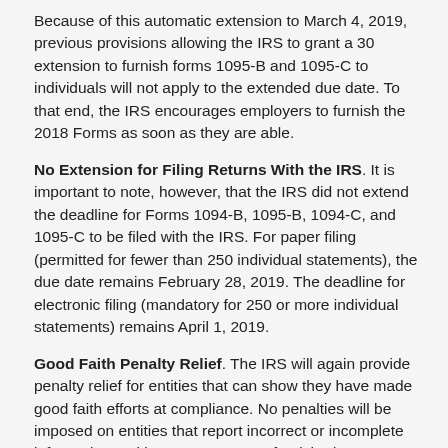Because of this automatic extension to March 4, 2019, previous provisions allowing the IRS to grant a 30 extension to furnish forms 1095-B and 1095-C to individuals will not apply to the extended due date. To that end, the IRS encourages employers to furnish the 2018 Forms as soon as they are able.
No Extension for Filing Returns With the IRS. It is important to note, however, that the IRS did not extend the deadline for Forms 1094-B, 1095-B, 1094-C, and 1095-C to be filed with the IRS. For paper filing (permitted for fewer than 250 individual statements), the due date remains February 28, 2019. The deadline for electronic filing (mandatory for 250 or more individual statements) remains April 1, 2019.
Good Faith Penalty Relief. The IRS will again provide penalty relief for entities that can show they have made good faith efforts at compliance. No penalties will be imposed on entities that report incorrect or incomplete information – either on statements furnished to individuals or returns filed with the IRS – if they can show they made good faith